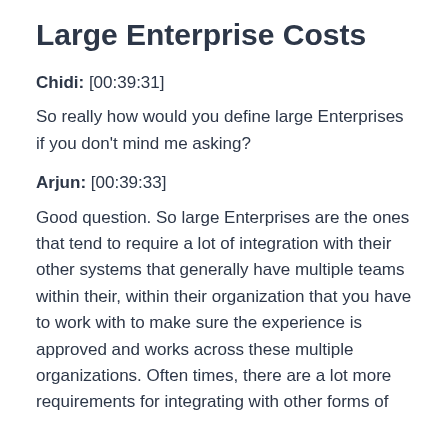Large Enterprise Costs
Chidi: [00:39:31]
So really how would you define large Enterprises if you don't mind me asking?
Arjun: [00:39:33]
Good question. So large Enterprises are the ones that tend to require a lot of integration with their other systems that generally have multiple teams within their, within their organization that you have to work with to make sure the experience is approved and works across these multiple organizations. Often times, there are a lot more requirements for integrating with other forms of